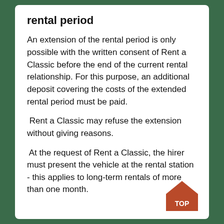rental period
An extension of the rental period is only possible with the written consent of Rent a Classic before the end of the current rental relationship. For this purpose, an additional deposit covering the costs of the extended rental period must be paid.
Rent a Classic may refuse the extension without giving reasons.
At the request of Rent a Classic, the hirer must present the vehicle at the rental station - this applies to long-term rentals of more than one month.
[Figure (logo): House-shaped orange/brown badge with 'TOP' text in white bold letters]